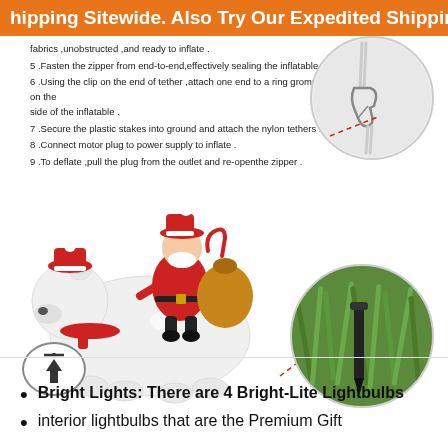hipping Sitewide. Also Try Our Expedited Shipping (E
fabrics ,unobstructed ,and ready to inflate .
5 .Fasten the zipper from end-to-end,effectively sealing the inflatable .
6 .Using the clip on the end of tether ,attach one end to a ring grommet on the side of the inflatable .
7 .Secure the plastic stakes into ground and attach the nylon tethers .
8 .Connect motor plug to power supply to inflate .
9 .To deflate ,pull the plug from the outlet and re-openthe zipper .
[Figure (photo): Close-up circle showing a zipper clip and rope/cord tether detail]
[Figure (photo): Inflatable Santa Claus riding a polar bear with gifts, Christmas decoration]
[Figure (photo): Close-up circle showing a black plastic stake in green grass]
Bright Lights: There are 4 Bright-Lite Lightbulbs
interior lightbulbs that are the Premium Gift